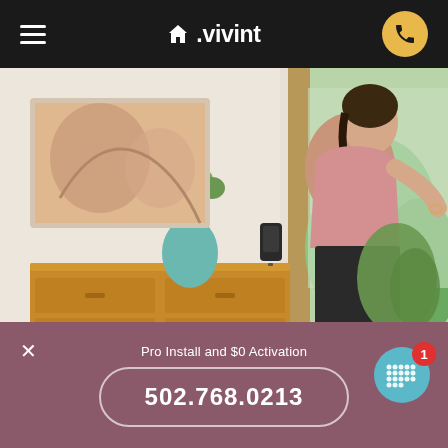▲.vivint
[Figure (photo): Woman in pink top and black pants standing at a wooden door in a home interior with a wooden dresser, teal vase with plants, and a Vivint security panel on the wall; outdoor greenery visible through the door]
The Vivint system gives you complete home automation and control
Pro Install and $0 Activation
502.768.0213